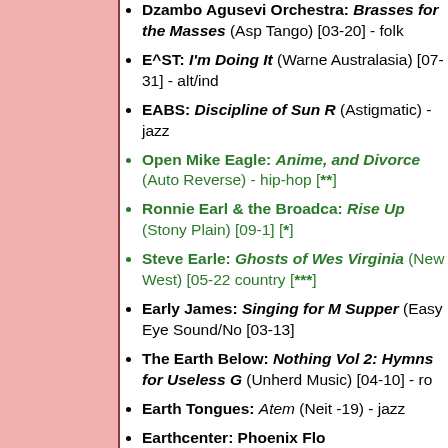Dzambo Agusevi Orchestra: Brasses for the Masses (Asp Tango) [03-20] - folk
E^ST: I'm Doing It (Warne Australasia) [07-31] - alt/ind
EABS: Discipline of Sun R (Astigmatic) - jazz
Open Mike Eagle: Anime, and Divorce (Auto Reverse) - hip-hop [**]
Ronnie Earl & the Broadca Rise Up (Stony Plain) [09-1 [*]
Steve Earle: Ghosts of Wes Virginia (New West) [05-22 country [***]
Early James: Singing for M Supper (Easy Eye Sound/No [03-13]
The Earth Below: Nothing Vol 2: Hymns for Useless G (Unherd Music) [04-10] - ro
Earth Tongues: Atem (Neit -19) - jazz
Earthcenter: Phoenix Flo